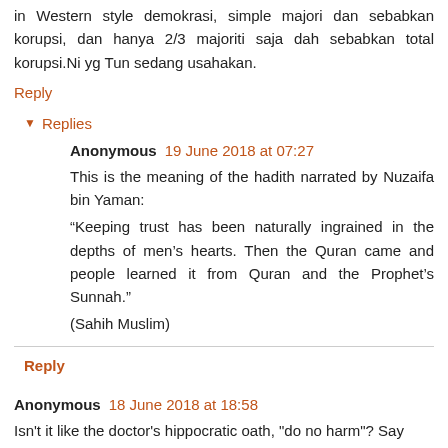in Western style demokrasi, simple majori dan sebabkan korupsi, dan hanya 2/3 majoriti saja dah sebabkan total korupsi.Ni yg Tun sedang usahakan.
Reply
Replies
Anonymous 19 June 2018 at 07:27
This is the meaning of the hadith narrated by Nuzaifa bin Yaman:
“Keeping trust has been naturally ingrained in the depths of men’s hearts. Then the Quran came and people learned it from Quran and the Prophet’s Sunnah.”
(Sahih Muslim)
Reply
Anonymous 18 June 2018 at 18:58
Isn't it like the doctor's hippocratic oath, "do no harm"? Say